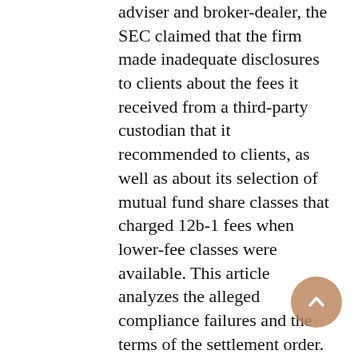adviser and broker-dealer, the SEC claimed that the firm made inadequate disclosures to clients about the fees it received from a third-party custodian that it recommended to clients, as well as about its selection of mutual fund share classes that charged 12b-1 fees when lower-fee classes were available. This article analyzes the alleged compliance failures and the terms of the settlement order. For other recent enforcement actions involving mutual fund share class recommendations, see “SEC Settles Three Additional Enforcement Actions for Inadequate Share-Class Disclosures” (May 17, 2018); “Ameriprise Settlement Reflects Continued SEC Focus on Conflicts of Interest and Retail Investors” (June 17, 2019); and “...